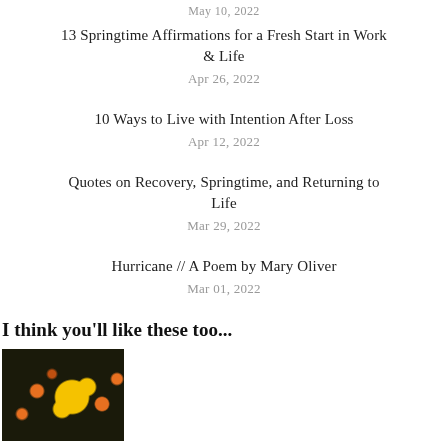May 10, 2022
13 Springtime Affirmations for a Fresh Start in Work & Life
Apr 26, 2022
10 Ways to Live with Intention After Loss
Apr 12, 2022
Quotes on Recovery, Springtime, and Returning to Life
Mar 29, 2022
Hurricane // A Poem by Mary Oliver
Mar 01, 2022
I think you'll like these too...
[Figure (photo): Dark background with yellow and orange cosmos flowers]
13 Springtime Affirmations for a Fresh Start in Work & Life